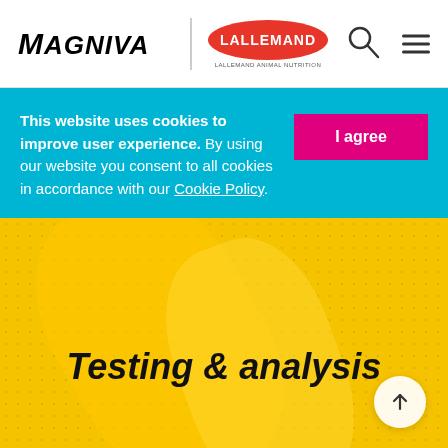[Figure (logo): Magniva logo in bold italic black uppercase text with stylized M letter]
[Figure (logo): Lallemand Animal Nutrition logo — red oval with white LALLEMAND text, small subtitle below]
This website uses cookies to improve user experience. By using our website you consent to all cookies in accordance with our Cookie Policy.
I agree
Home  >  Testing & analysis
Testing & analysis